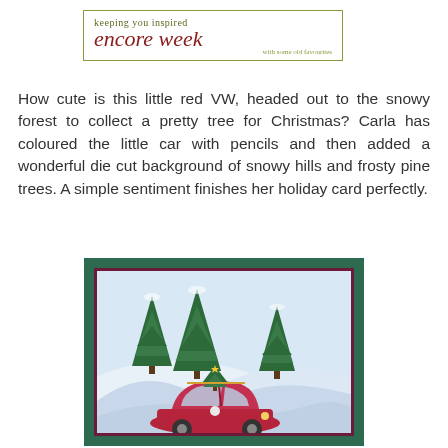[Figure (logo): Encore week logo banner - 'keeping you inspired encore week with some old favourites' in green and dark red on white with olive green border]
How cute is this little red VW, headed out to the snowy forest to collect a pretty tree for Christmas? Carla has coloured the little car with pencils and then added a wonderful die cut background of snowy hills and frosty pine trees. A simple sentiment finishes her holiday card perfectly.
[Figure (photo): A handmade Christmas card showing a red VW Beetle car with a Christmas tree tied to its roof, set against a snowy background with green pine trees, mounted on dark green card stock]